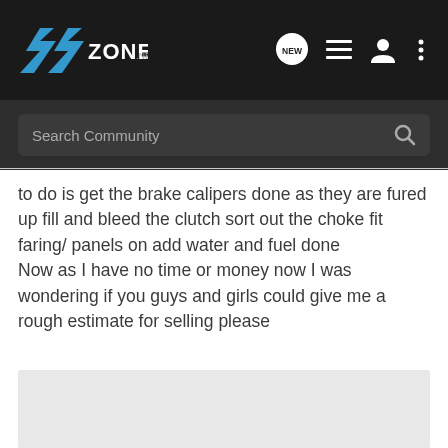7ZONE.NET
Search Community
to do is get the brake calipers done as they are fured up fill and bleed the clutch sort out the choke fit faring/ panels on add water and fuel done
Now as I have no time or money now I was wondering if you guys and girls could give me a rough estimate for selling please
[Figure (photo): Gray placeholder image area for an embedded photo or attachment in a forum post.]